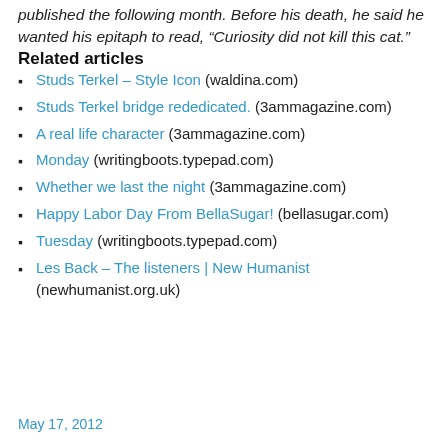published the following month. Before his death, he said he wanted his epitaph to read, “Curiosity did not kill this cat.”
Related articles
Studs Terkel – Style Icon (waldina.com)
Studs Terkel bridge rededicated. (3ammagazine.com)
A real life character (3ammagazine.com)
Monday (writingboots.typepad.com)
Whether we last the night (3ammagazine.com)
Happy Labor Day From BellaSugar! (bellasugar.com)
Tuesday (writingboots.typepad.com)
Les Back – The listeners | New Humanist (newhumanist.org.uk)
May 17, 2012